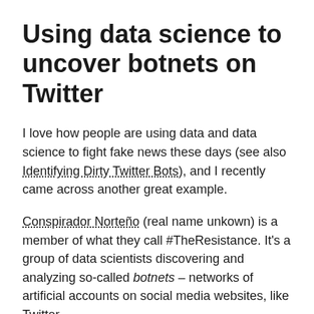Using data science to uncover botnets on Twitter
I love how people are using data and data science to fight fake news these days (see also Identifying Dirty Twitter Bots), and I recently came across another great example.
Conspirador Norteño (real name unkown) is a member of what they call #TheResistance. It's a group of data scientists discovering and analyzing so-called botnets – networks of artificial accounts on social media websites, like Twitter.
TheResistance uses quantitative analysis to unveil large groups of fake accounts, spreading potential fake news, or fake-endorsing the (fake) news spread